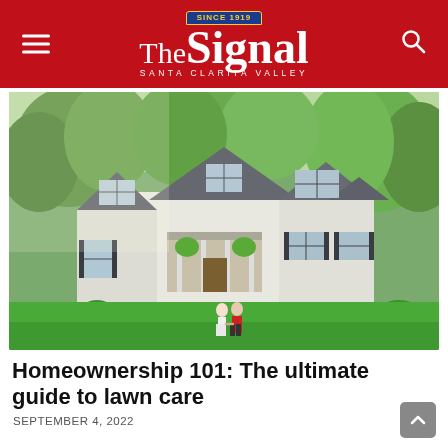The Signal — Santa Clarita Valley
[Figure (photo): Aerial or elevated view of a large white two-story colonial-style house with dark shutters and a covered porch, surrounded by green lawn and trees. A couple (one in red shirt, one in white) walks hand-in-hand across the lawn toward the house.]
Homeownership 101: The ultimate guide to lawn care
SEPTEMBER 4, 2022